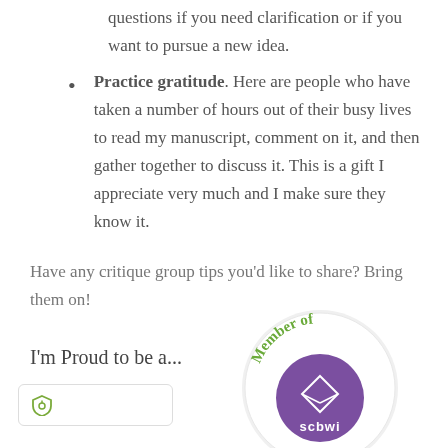questions if you need clarification or if you want to pursue a new idea.
Practice gratitude. Here are people who have taken a number of hours out of their busy lives to read my manuscript, comment on it, and then gather together to discuss it. This is a gift I appreciate very much and I make sure they know it.
Have any critique group tips you'd like to share? Bring them on!
I'm Proud to be a...
[Figure (logo): SCBWI membership badge — a circular badge with 'Member of' text in green around the top and a purple circle with the SCBWI logo and text in the center]